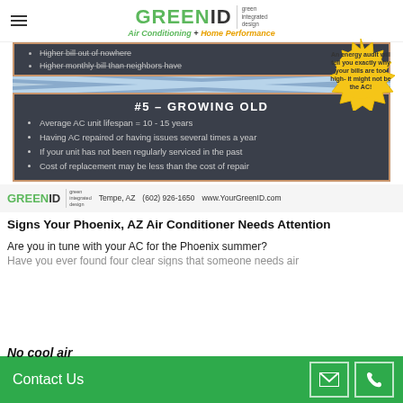GREENID green integrated design | Air Conditioning + Home Performance
[Figure (infographic): Infographic showing signs your AC needs attention. Top partial panel with bullet points about high bills (strikethrough text). Gold seal saying 'An energy audit will tell you exactly why your bills are too high- it might not be the AC!'. Section #5 - GROWING OLD panel with dark background showing bullet points: Average AC unit lifespan = 10-15 years, Having AC repaired or having issues several times a year, If your unit has not been regularly serviced in the past, Cost of replacement may be less than the cost of repair.]
GREENID green integrated design | Tempe, AZ | (602) 926-1650 | www.YourGreenID.com
Signs Your Phoenix, AZ Air Conditioner Needs Attention
Are you in tune with your AC for the Phoenix summer?
Contact Us
No cool air